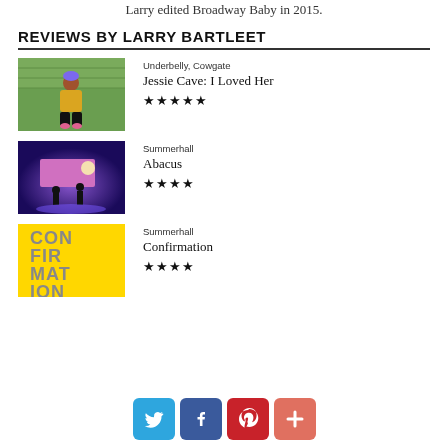Larry edited Broadway Baby in 2015.
REVIEWS BY LARRY BARTLEET
[Figure (photo): Person in yellow hoodie crouching against a green brick wall]
Underbelly, Cowgate
Jessie Cave: I Loved Her
★★★★★
[Figure (photo): Blue and purple lit stage with pink screen and silhouettes]
Summerhall
Abacus
★★★★
[Figure (photo): Yellow poster with CONFIRMATION text in bold block letters]
Summerhall
Confirmation
★★★★